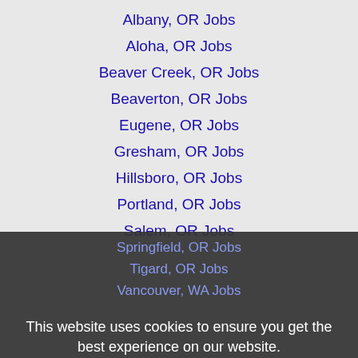Albany, OR Jobs
Aloha, OR Jobs
Beaver Creek, OR Jobs
Beaverton, OR Jobs
Eugene, OR Jobs
Gresham, OR Jobs
Hillsboro, OR Jobs
Portland, OR Jobs
Salem, OR Jobs
Springfield, OR Jobs
Tigard, OR Jobs
Vancouver, WA Jobs
This website uses cookies to ensure you get the best experience on our website.
Learn more
Got it!
Home  Profile and Resume  Browse Jobs  Employers  Other Cities  Clients List  About Us  Contact Us  Help  Terms of Use  Register / Log In